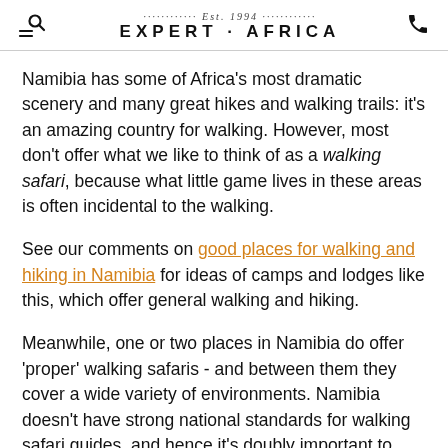Est. 1994 EXPERT·AFRICA
Namibia has some of Africa's most dramatic scenery and many great hikes and walking trails: it's an amazing country for walking. However, most don't offer what we like to think of as a walking safari, because what little game lives in these areas is often incidental to the walking.
See our comments on good places for walking and hiking in Namibia for ideas of camps and lodges like this, which offer general walking and hiking.
Meanwhile, one or two places in Namibia do offer 'proper' walking safaris - and between them they cover a wide variety of environments. Namibia doesn't have strong national standards for walking safari guides, and hence it's doubly important to take care